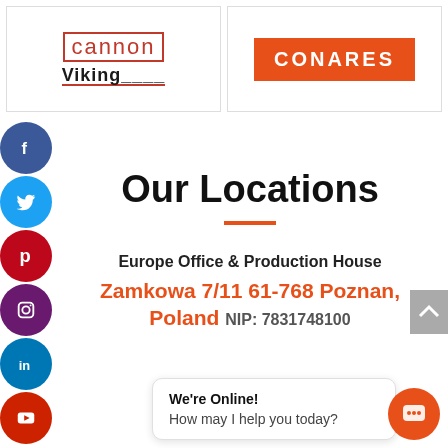[Figure (logo): Cannon Viking logo - red outlined text 'cannon' with bold 'Viking' below and red underline]
[Figure (logo): CONARES logo - white text on orange/red rectangular background]
Our Locations
Europe Office & Production House
Zamkowa 7/11 61-768 Poznan, Poland NIP: 7831748100
We're Online! How may I help you today?